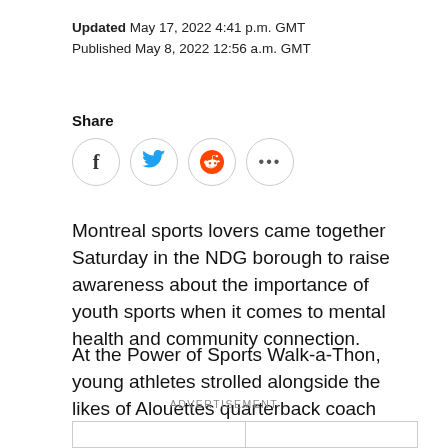Updated May 17, 2022 4:41 p.m. GMT
Published May 8, 2022 12:56 a.m. GMT
Share
[Figure (other): Social share buttons: Facebook, Twitter, Reddit, and more (ellipsis)]
Montreal sports lovers came together Saturday in the NDG borough to raise awareness about the importance of youth sports when it comes to mental health and community connection.
At the Power of Sports Walk-a-Thon, young athletes strolled alongside the likes of Alouettes quarterback coach Anthony Calvillo and pro basketball player Tevonn Walker.
ADVERTISEMENT